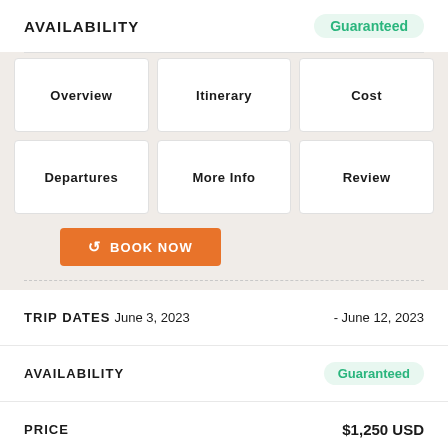AVAILABILITY  Guaranteed
Overview
Itinerary
Cost
Departures
More Info
Review
BOOK NOW
TRIP DATES June 3, 2023 - June 12, 2023
AVAILABILITY  Guaranteed
PRICE  $1,250 USD
SPACE LEFT  10 Available